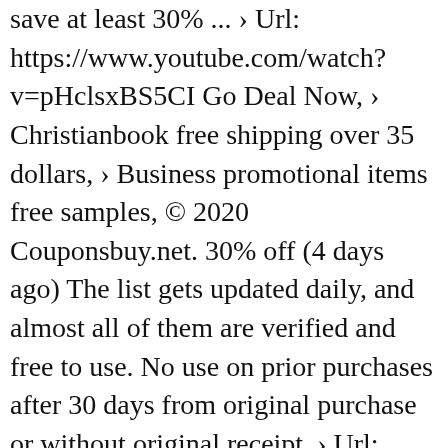save at least 30% ... › Url: https://www.youtube.com/watch?v=pHclsxBS5CI Go Deal Now, › Christianbook free shipping over 35 dollars, › Business promotional items free samples, © 2020 Couponsbuy.net. 30% off (4 days ago) The list gets updated daily, and almost all of them are verified and free to use. No use on prior purchases after 30 days from original purchase or without original receipt. › Url: https://top1promocodes.com/harbor-freight-promo-codes/30-percent-off/ Go Deal Now. 20% off (2 months ago) harbor freight dust collector coupon CODES Get Deal harbor freight dust coll. Stretch your dollar even further at Harbor Freight with our 20% off coupons. Make use of this deal before it expires... harbor freight free with purchase, › Url: https://www.bluediscountcoupon.com/harbor-freight-